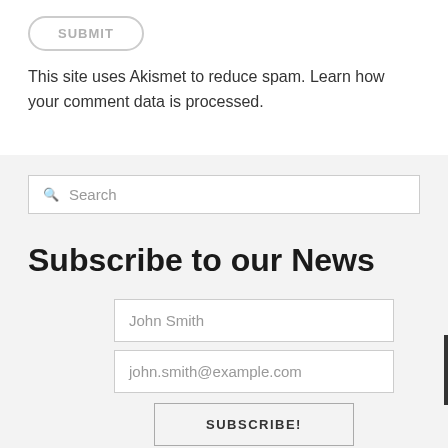[Figure (other): SUBMIT button with rounded pill border in gray]
This site uses Akismet to reduce spam. Learn how your comment data is processed.
[Figure (other): Search input box with magnifying glass icon and placeholder text 'Search']
Subscribe to our News
[Figure (other): Subscription form with name input 'John Smith', email input 'john.smith@example.com', and SUBSCRIBE! button]